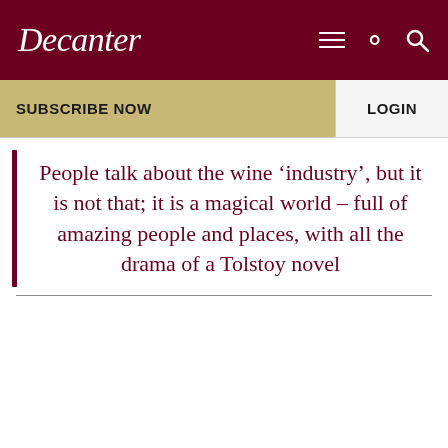Decanter
SUBSCRIBE NOW
LOGIN
People talk about the wine ‘industry’, but it is not that; it is a magical world – full of amazing people and places, with all the drama of a Tolstoy novel